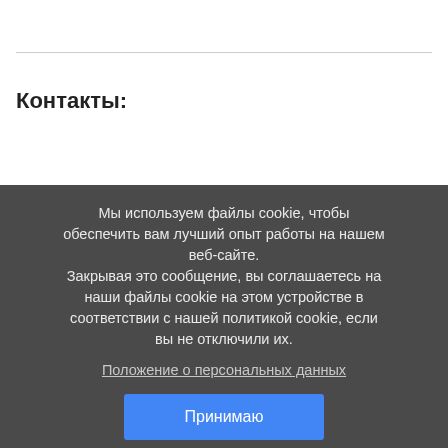Контакты:
Мы используем файлы cookie, чтобы обеспечить вам лучший опыт работы на нашем веб-сайте.
Закрывая это сообщение, вы соглашаетесь на наши файлы cookie на этом устройстве в соответствии с нашей политикой cookie, если вы не отключили их.
Положение о персональных данных
Принимаю